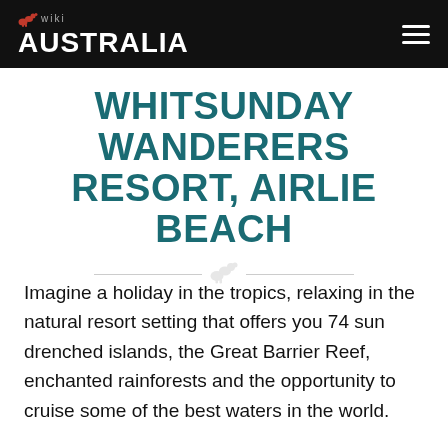wiki AUSTRALIA
WHITSUNDAY WANDERERS RESORT, AIRLIE BEACH
Imagine a holiday in the tropics, relaxing in the natural resort setting that offers you 74 sun drenched islands, the Great Barrier Reef, enchanted rainforests and the opportunity to cruise some of the best waters in the world.
Whitsunday Wanderers Resort offers you this little piece of paradise! Situated in the very heart of Airlie Beach, this tropical resort gives